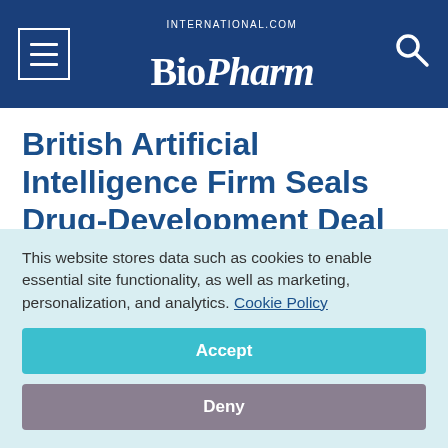BioPharm International
British Artificial Intelligence Firm Seals Drug-Development Deal with Janssen
November 8, 2016
BioPharm International Editors
This website stores data such as cookies to enable essential site functionality, as well as marketing, personalization, and analytics. Cookie Policy
Accept
Deny